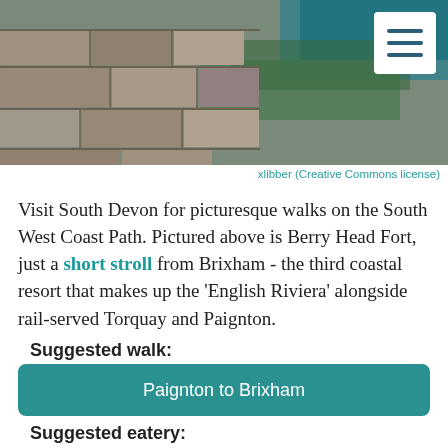[Figure (photo): Stone ruins of Berry Head Fort with coastal cliffs and teal sea water in background, with a hamburger menu icon in top right corner]
xlibber (Creative Commons license)
Visit South Devon for picturesque walks on the South West Coast Path. Pictured above is Berry Head Fort, just a short stroll from Brixham - the third coastal resort that makes up the 'English Riviera' alongside rail-served Torquay and Paignton.
Suggested walk:
Paignton to Brixham
Suggested eatery:
Churston Manor
Trains and accommodation: